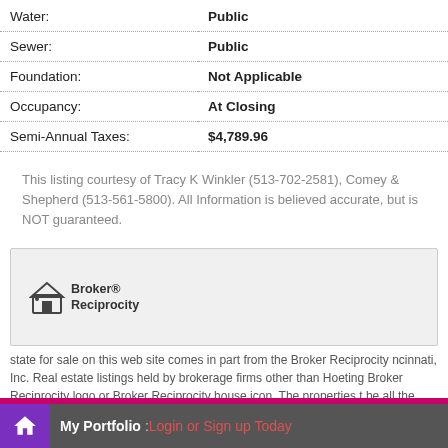| Water: | Public |
| Sewer: | Public |
| Foundation: | Not Applicable |
| Occupancy: | At Closing |
| Semi-Annual Taxes: | $4,789.96 |
This listing courtesy of Tracy K Winkler (513-702-2581), Comey & Shepherd (513-561-5800). All Information is believed accurate, but is NOT guaranteed.
[Figure (logo): Broker Reciprocity logo with house icon]
state for sale on this web site comes in part from the Broker Reciprocity ncinnati, Inc. Real estate listings held by brokerage firms other than Hoeting Broker Reciprocity logo or Broker Reciprocity house icon. The properties t be all the properties available through Broker Reciprocity.
My Portfolio : Login or Sign up Today